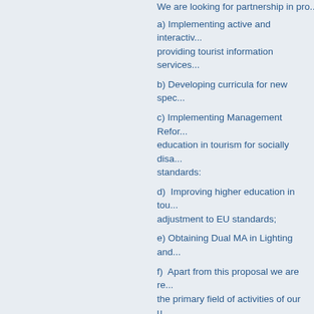We are looking for partnership in pro...
a) Implementing active and interactive... providing tourist information services...
b) Developing curricula for new spec...
c) Implementing Management Reform... education in tourism for socially disa... standards:
d) Improving higher education in tou... adjustment to EU standards;
e) Obtaining Dual MA in Lighting and...
f) Apart from this proposal we are re... the primary field of activities of our u...
Детальніше...
National University of U... partners
1. Name of your university interest...
Primary Students' Trade Union Or... Economy in Kharkiv
2. Main field of activities:
Primary Students' Trade Union Org...